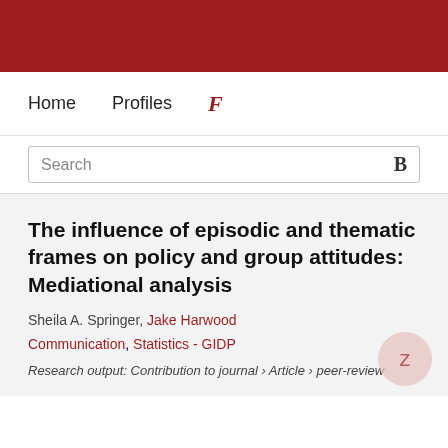[Figure (other): Dark red header bar at the top of the page (university/institutional branding)]
Home  Profiles  F
Search
The influence of episodic and thematic frames on policy and group attitudes: Mediational analysis
Sheila A. Springer, Jake Harwood
Communication, Statistics - GIDP
Research output: Contribution to journal › Article › peer-review